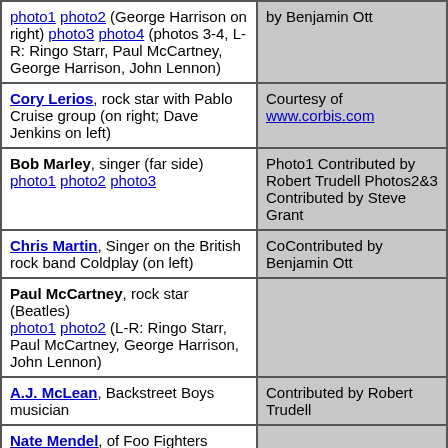| Person / Description | Attribution |
| --- | --- |
| photo1 photo2 (George Harrison on right) photo3 photo4 (photos 3-4, L-R: Ringo Starr, Paul McCartney, George Harrison, John Lennon) | by Benjamin Ott |
| Cory Lerios, rock star with Pablo Cruise group (on right; Dave Jenkins on left) | Courtesy of www.corbis.com |
| Bob Marley, singer (far side) photo1 photo2 photo3 | Photo1 Contributed by Robert Trudell Photos2&3 Contributed by Steve Grant |
| Chris Martin, Singer on the British rock band Coldplay (on left) | CoContributed by Benjamin Ott |
| Paul McCartney, rock star (Beatles) photo1 photo2 (L-R: Ringo Starr, Paul McCartney, George Harrison, John Lennon) |  |
| A.J. McLean, Backstreet Boys musician | Contributed by Robert Trudell |
| Nate Mendel, of Foo Fighters music group |  |
| Thelonious Monk, jazz musician photo1 photo2 | Photo 1 Contributed by Robert Trudell |